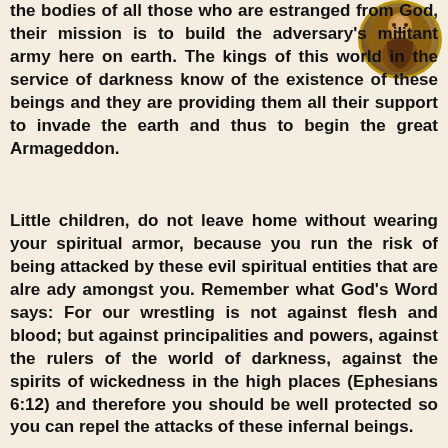[Figure (illustration): Circular medallion illustration with gold border showing a dark figure, likely a religious or symbolic image]
the bodies of all those who are estranged from God, their mission is to build the adversary's militant army here on earth. The kings of this world in the service of darkness know of the existence of these beings and they are providing them all their support to invade the earth and thus to begin the great Armageddon.
Little children, do not leave home without wearing your spiritual armor, because you run the risk of being attacked by these evil spiritual entities that are alre ady amongst you. Remember what God's Word says: For our wrestling is not against flesh and blood; but against principalities and powers, against the rulers of the world of darkness, against the spirits of wickedness in the high places (Ephesians 6:12) and therefore you should be well protected so you can repel the attacks of these infernal beings.